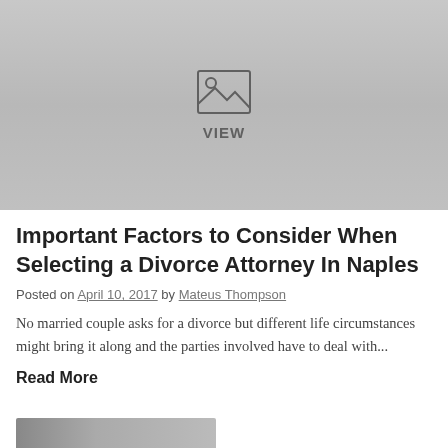[Figure (illustration): Gray placeholder image with a landscape/image icon and the text VIEW centered below it]
Important Factors to Consider When Selecting a Divorce Attorney In Naples
Posted on April 10, 2017 by Mateus Thompson
No married couple asks for a divorce but different life circumstances might bring it along and the parties involved have to deal with...
Read More